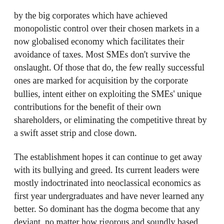by the big corporates which have achieved monopolistic control over their chosen markets in a now globalised economy which facilitates their avoidance of taxes. Most SMEs don't survive the onslaught. Of those that do, the few really successful ones are marked for acquisition by the corporate bullies, intent either on exploiting the SMEs' unique contributions for the benefit of their own shareholders, or eliminating the competitive threat by a swift asset strip and close down.
The establishment hopes it can continue to get away with its bullying and greed. Its current leaders were mostly indoctrinated into neoclassical economics as first year undergraduates and have never learned any better. So dominant has the dogma become that any deviant, no matter how rigorous and soundly based their reasoning, will find themselves frozen out of a fulfilling career in their chosen area.
Many practical steps have been identified that could be taken